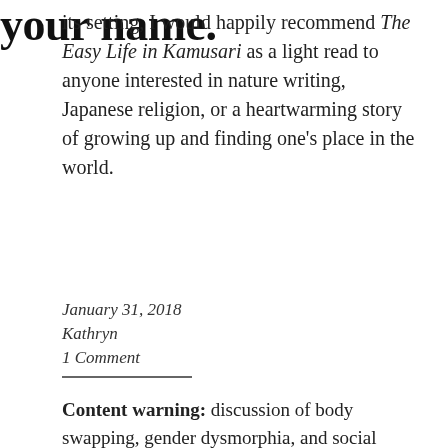its setting, I would happily recommend The Easy Life in Kamusari as a light read to anyone interested in nature writing, Japanese religion, or a heartwarming story of growing up and finding one's place in the world.
your name.
January 31, 2018
Kathryn
1 Comment
Content warning: discussion of body swapping, gender dysmorphia, and social dysmorphia